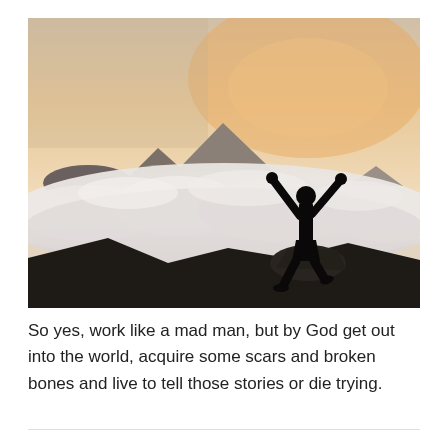[Figure (photo): Silhouette of a person standing on a rock with arms raised in triumph, above a sea of clouds with mountain peaks in the background at sunrise/sunset. The sky is warm orange and peach tones.]
So yes, work like a mad man, but by God get out into the world, acquire some scars and broken bones and live to tell those stories or die trying.